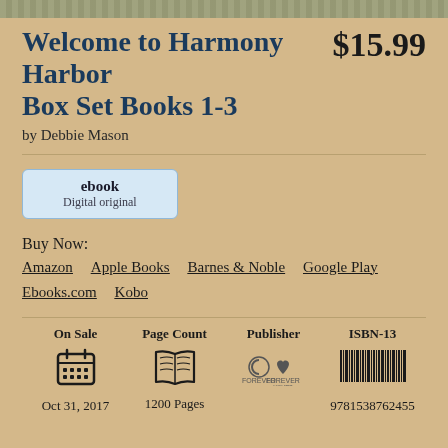Welcome to Harmony Harbor Box Set Books 1-3
by Debbie Mason
$15.99
ebook
Digital original
Buy Now:
Amazon   Apple Books   Barnes & Noble   Google Play   Ebooks.com   Kobo
| On Sale | Page Count | Publisher | ISBN-13 |
| --- | --- | --- | --- |
| Oct 31, 2017 | 1200 Pages |  | 9781538762455 |